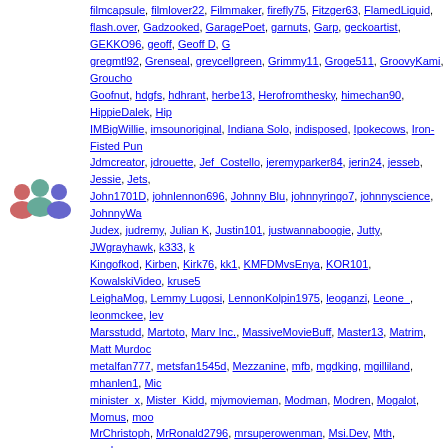filmcapsule, filmlover22, Filmmaker, firefly75, Fitzger63, FlamedLiquid, flash.over, Gadzooked, GaragePoet, garnuts, Garp, geckoartist, GEKKO96, geoff, Geoff D, gregmtl92, Grenseal, greycellgreen, Grimmy11, Groge511, GroovyKami, Groucho, Goofnut, hdgfs, hdhrant, herbe13, Herofromthesky, himechan90, HippieDalek, Hip, IMBigWillie, imsounoriginal, Indiana Solo, indisposed, Ipokecows, Iron-Fisted Pun, Jdmcreator, jdrouette, Jef_Costello, jeremyparker84, jerin24, jesseb, Jessie, Jets, John1701D, johnlennon696, Johnny Blu, johnnyringo7, johnnyscience, JohnnyWa, Judex, judremy, Julian K, Justin101, justwannaboogie, Jutty, JWgrayhawk, k333, Kingofkod, Kirben, Kirk76, kk1, KMFDMvsEnya, KOR101, KowalskiVideo, kruse5, LeighaMog, Lemmy Lugosi, LennonKolpin1975, leoganzi, Leone_, leonmckee, lev, Marsstudd, Martoto, Marv Inc., MassiveMovieBuff, Master13, Matrim, Matt Murdoc, metalfan777, metsfan1545d, Mezzanine, mfb, mgdking, mgilliland, mhanlen1, Mic, minister_x, Mister_Kidd, mjvmovieman, Modman, Modren, Mogalot, Momus, moo, MrChristoph, MrRonald2796, mrsuperowenman, Msi.Dev, Mth, mucho_mango, m, ninawatches, niner4lfe, ninersmovies, Ninja4561, nissl, NJPete, Nlandeh, NLScav, OnlyJapantown, OSHAN, OutOfBoose, Painterscrowbar, partridgep, Passenger00, Pineapples101, pino, PipesDonatello, Pipster84, pisces13, pjl69, Plainview, Plaxa, Scoop, PrometheusUK, PropertyOfJ, prophetic, prostx23, ps3bd_owner, pscloud, randy1969, rasbumr819, rawdonwhite, Rayjg, RazorwireRyan, rbarb, rdm5777, re, Rockercub, rockyfan, Roger.O.Thornhill, RogueKnite, roiroiroi, Rollo Tomassi, Ro, sanjuro78, SantosLHalper, Saphyrro, Saraph, satyriconuk, savcast, sb5, Scarface, sfmarine, shadowlover, shajar imam, shamus, Shane665, ShellOilJunior, shireguys, Smoker25, Smurf1000, Snikt, snoozeray, Socko, solidassassin47, Solutionbubble, Fate, starmike, ste71, Ste7en, steaksauce, SteamfloggerBoss, Sterling450, Steve, Supersleuth, suspiciouscoffee, swarm87, swervin, SwissHD, switch99, SyrinxTem, The Great Owl, The Hornets, The Second Floor, the1tyrant, theboyennis, TheCom, thethingwithnoname, TheZatch, thisis2, Thomas Crown, thunder2020, ticktock60, Traveler, TrentexTech, trip66, TroubledSpirits, Tuc0, tuffy, turntable97, Twelver, tw, VideoPhonic, Vidov, vinny98, Vito Cipriani, vrayv, Vrgtmmn, v_i, wabrit, waff, Walic, WillieMLF, Withnail74, wjasoncul, WlknDisaster, woodley56, woodsn, Woody2215, Zen_Amako, Zhuge1, Zodiac, Zodiac-Mindwarp, ZombAid, Zombie Kermit, Zorkel
Blu-ray Forum Statistics
Threads: 301,416, Posts: 19,332,906, Members: 625,816
Welcome to our newest member, emal